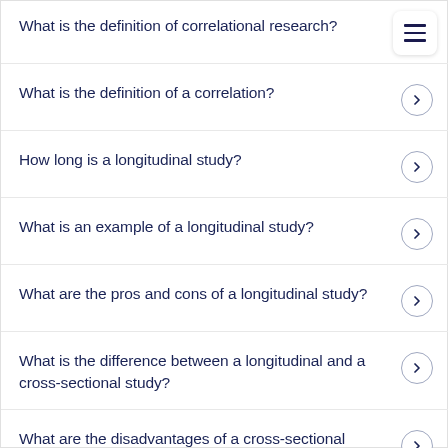What is the definition of correlational research?
What is the definition of a correlation?
How long is a longitudinal study?
What is an example of a longitudinal study?
What are the pros and cons of a longitudinal study?
What is the difference between a longitudinal and a cross-sectional study?
What are the disadvantages of a cross-sectional study?